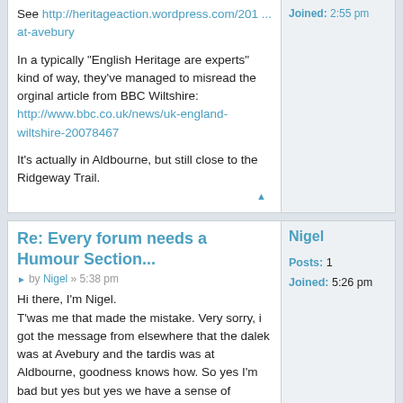See http://heritageaction.wordpress.com/201 ... at-avebury
In a typically "English Heritage are experts" kind of way, they've managed to misread the orginal article from BBC Wiltshire: http://www.bbc.co.uk/news/uk-england-wiltshire-20078467
It's actually in Aldbourne, but still close to the Ridgeway Trail.
Joined: 2:55 pm
Re: Every forum needs a Humour Section...
by Nigel » 5:38 pm
Nigel
Posts: 1
Joined: 5:26 pm
Hi there, I'm Nigel.
T'was me that made the mistake. Very sorry, i got the message from elsewhere that the dalek was at Avebury and the tardis was at Aldbourne, goodness knows how. So yes I'm bad but yes but yes we have a sense of humour. BTW, we absolutely aren't English Heritage (how's that for a sense of humour!) we're a purely amateur group trying to do our bit for awareness and conservation of prehistoric sites.
Hope we can co-operate in some way.
Re: Every forum needs a Humour
Penny